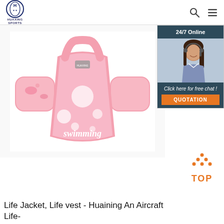HUAXING SPORTS
[Figure (photo): Pink children's swimming life jacket/vest with arm floaties, decorated with rainbow and unicorn patterns, text 'swimming' on front]
[Figure (infographic): 24/7 Online chat widget showing a customer service representative (woman with headset), text 'Click here for free chat!' and an orange QUOTATION button]
[Figure (other): Orange 'TOP' scroll-to-top button with upward arrow dots]
Life Jacket, Life vest - Huaining An Aircraft Life-